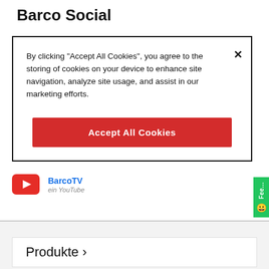Barco Social
By clicking "Accept All Cookies", you agree to the storing of cookies on your device to enhance site navigation, analyze site usage, and assist in our marketing efforts.
Accept All Cookies
BarcoTV
ein YouTube
Produkte >